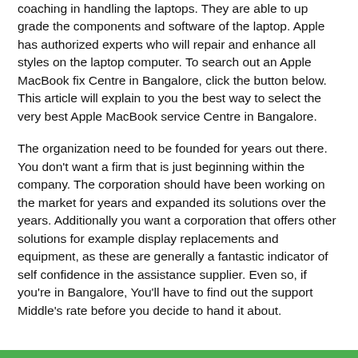coaching in handling the laptops. They are able to up grade the components and software of the laptop. Apple has authorized experts who will repair and enhance all styles on the laptop computer. To search out an Apple MacBook fix Centre in Bangalore, click the button below. This article will explain to you the best way to select the very best Apple MacBook service Centre in Bangalore.
The organization need to be founded for years out there. You don't want a firm that is just beginning within the company. The corporation should have been working on the market for years and expanded its solutions over the years. Additionally you want a corporation that offers other solutions for example display replacements and equipment, as these are generally a fantastic indicator of self confidence in the assistance supplier. Even so, if you're in Bangalore, You'll have to find out the support Middle's rate before you decide to hand it about.